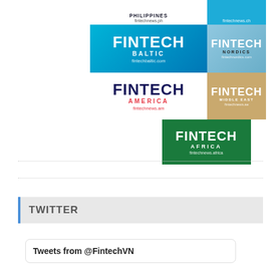[Figure (logo): Grid of Fintech News regional logos: Philippines (fintechnews.ph), Switzerland (fintechnews.ch), Fintech Baltic (fintechbaltic.com), Fintech Nordics (fintechnordics.com), Fintech America (fintechnews.am), Fintech Middle East (fintechnews.ae), Fintech Africa (fintechnews.africa)]
TWITTER
Tweets from @FintechVN